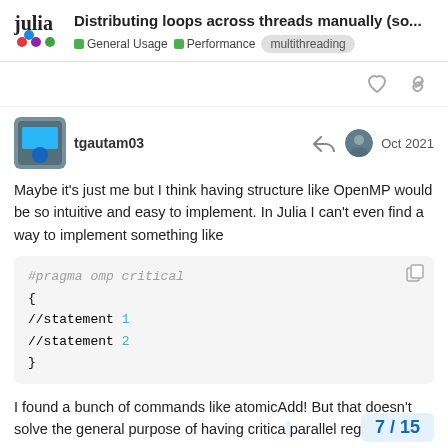Distributing loops across threads manually (so...
General Usage  Performance  multithreading
tgautam03  Oct 2021
Maybe it's just me but I think having structure like OpenMP would be so intuitive and easy to implement. In Julia I can't even find a way to implement something like
#pragma omp critical
{
//statement 1
//statement 2
}
I found a bunch of commands like atomicAdd! But that doesn't solve the general purpose of having critica parallel region.